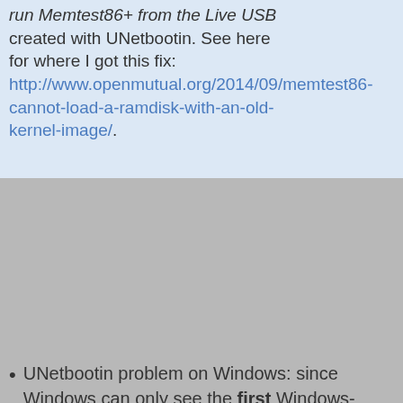run Memtest86+ from the Live USB created with UNetbootin. See here for where I got this fix: http://www.openmutual.org/2014/09/memtest86-cannot-load-a-ramdisk-with-an-old-kernel-image/.
UNetbootin problem on Windows: since Windows can only see the first Windows-compatible partition on a USB thumb drive, even if there are multiple Windows-compatible partitions on the drive, you are limited to ONLY installing your live USB iso file onto the first partition. What if you want the 1st partition to be a “storage” partition, however, and the 2nd one to be the operating system for the live USB? Can you still use UNetbootin